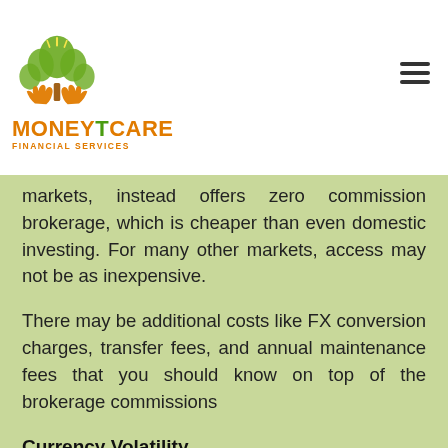[Figure (logo): MoneyCare Financial Services logo with green tree and orange text]
markets, instead offers zero commission brokerage, which is cheaper than even domestic investing. For many other markets, access may not be as inexpensive.
There may be additional costs like FX conversion charges, transfer fees, and annual maintenance fees that you should know on top of the brokerage commissions
Currency Volatility
When investing directly in foreign markets, you first have to convert your Indian rupees